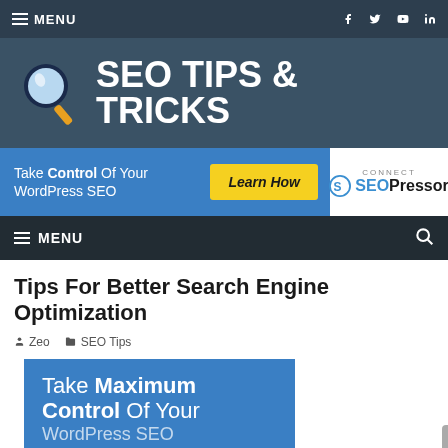MENU
[Figure (logo): SEO Tips & Tricks site header with magnifying glass logo and white text]
[Figure (infographic): Ad banner: Take Control Of Your WordPress SEO - Learn How - SEOPressor Connect]
MENU
Tips For Better Search Engine Optimization
Zeo   SEO Tips
[Figure (infographic): Blue ad image: Take Maximum Control Of Your WordPress SEO]